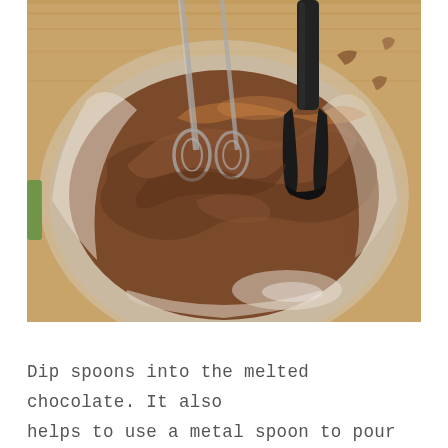[Figure (photo): A close-up photo of melted chocolate being stirred in a large glass bowl with a hand mixer and a black spatula. The chocolate is smooth and glossy brown, swirled with mixing marks. The bowl sits on a wooden surface.]
Dip spoons into the melted chocolate. It also helps to use a metal spoon to pour the chocolate